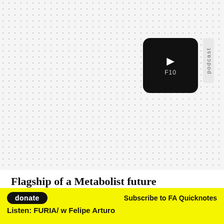[Figure (screenshot): Dotted/grid background pattern filling the upper portion of the page, with a black rounded square podcast badge in the top right showing a speaker/play icon and 'F10' label, and a light grey vertical tab with 'podcast' text rotated.]
Flagship of a Metabolist future
Metabolism's rise and fall are bookended by two
donate   Subscribe to FA Quicknotes   Listen: FURIA/ w Felipe Arturo